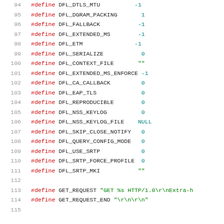[Figure (screenshot): Source code listing showing C preprocessor #define directives for DFL_ configuration constants, lines 94-115]